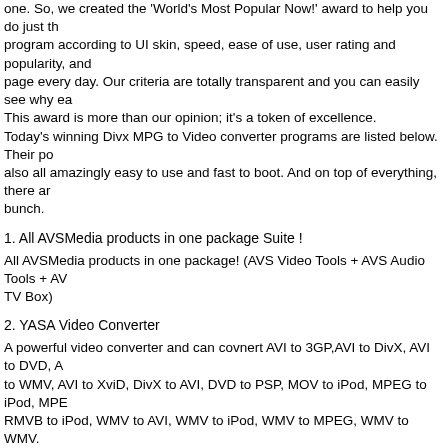one. So, we created the 'World's Most Popular Now!' award to help you do just that. We rank each program according to UI skin, speed, ease of use, user rating and popularity, and update the page every day. Our criteria are totally transparent and you can easily see why each product wins. This award is more than our opinion; it's a token of excellence. Today's winning Divx MPG to Video converter programs are listed below. Their popularity is not all. They are also all amazingly easy to use and fast to boot. And on top of everything, there are free trials for the whole bunch.
1. All AVSMedia products in one package Suite !
All AVSMedia products in one package! (AVS Video Tools + AVS Audio Tools + AVS TV Box)
2. YASA Video Converter
A powerful video converter and can covnert AVI to 3GP,AVI to DivX, AVI to DVD, AVI to WMV, AVI to XviD, DivX to AVI, DVD to PSP, MOV to iPod, MPEG to iPod, MPEG to RMVB to iPod, WMV to AVI, WMV to iPod, WMV to MPEG, WMV to WMV.
3. Avex DVD & Video Converter Platinum Pack
Best Video Tools – Avex DVD & Video Converter Platinum Pack combines DVD Ripping Platinum and all DVD to iPod, PSP, 3GP, Zune Video Suite into one at steep disco
4. Okoker AVI to DVD VCD DIVX MPEG Converter and Burner
It is a professional media conversion tool that can batch convert AVI/DIVX/XVID to DVD/CD. You can change the codec/system type to PAL or NTSC, and adjust the
5. Cucusoft MPEG/AVI to DVD/VCD/SVCD Converter Pro
It supports convert AVI to VCD, AVI to DVD, AVI to SVCD, AVI to MPEG1, AVI to MPEG2. It not only convert AVI file, but also can convert almost all video file formats to VCD